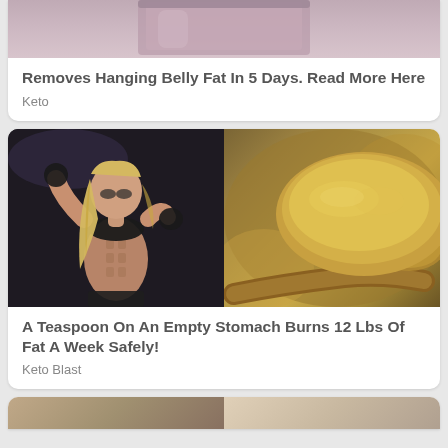[Figure (photo): Top portion of a beverage or supplement container/glass, partially cropped at top]
Removes Hanging Belly Fat In 5 Days. Read More Here
Keto
[Figure (photo): Left: fitness woman with long blonde hair in black workout gear showing abs. Right: golden/yellow spice or supplement powder on a wooden spoon]
A Teaspoon On An Empty Stomach Burns 12 Lbs Of Fat A Week Safely!
Keto Blast
[Figure (photo): Partial view of a third advertisement card, cropped at bottom of page]